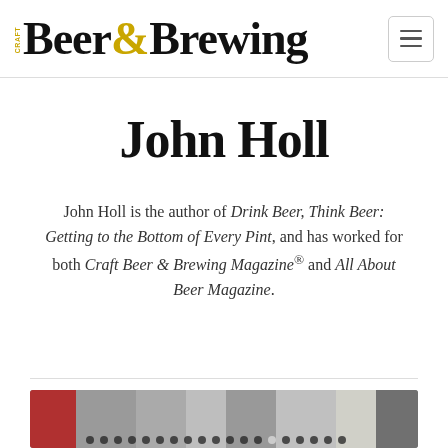Craft Beer & Brewing
John Holl
John Holl is the author of Drink Beer, Think Beer: Getting to the Bottom of Every Pint, and has worked for both Craft Beer & Brewing Magazine® and All About Beer Magazine.
[Figure (photo): Blurred photo of what appears to be a brewery or bar interior with red element on left side and rows of equipment/taps.]